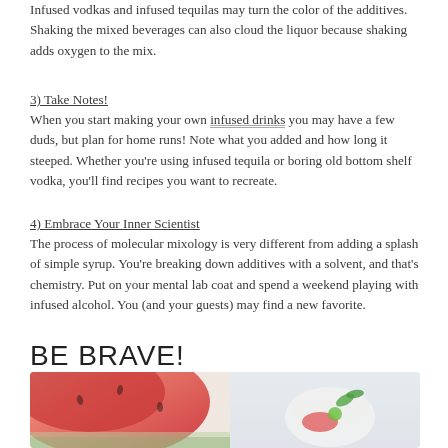Infused vodkas and infused tequilas may turn the color of the additives. Shaking the mixed beverages can also cloud the liquor because shaking adds oxygen to the mix.
3) Take Notes!
When you start making your own infused drinks you may have a few duds, but plan for home runs! Note what you added and how long it steeped. Whether you're using infused tequila or boring old bottom shelf vodka, you'll find recipes you want to recreate.
4) Embrace Your Inner Scientist
The process of molecular mixology is very different from adding a splash of simple syrup. You're breaking down additives with a solvent, and that's chemistry. Put on your mental lab coat and spend a weekend playing with infused alcohol. You (and your guests) may find a new favorite.
BE BRAVE!
[Figure (photo): Close-up photo showing sliced watermelon on the left side and a cocktail drink garnished with mint and watermelon on the right side, on a light background.]